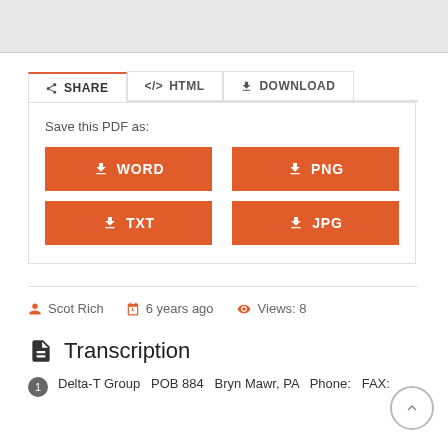[Figure (screenshot): Gray top bar area, partial screenshot of a web page UI]
SHARE  </> HTML  ⬇ DOWNLOAD
Save this PDF as:
⬇ WORD
⬇ PNG
⬇ TXT
⬇ JPG
Scot Rich   6 years ago   Views: 8
Transcription
1  Delta-T Group  POB 884  Bryn Mawr, PA  Phone:  FAX: